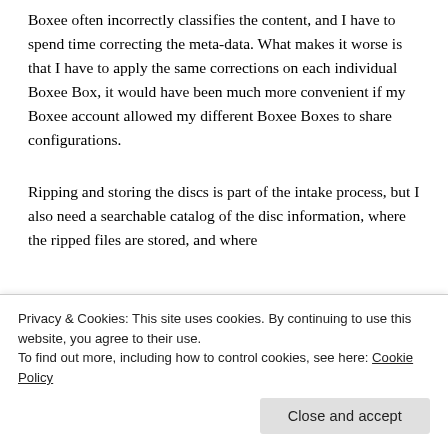Boxee often incorrectly classifies the content, and I have to spend time correcting the meta-data. What makes it worse is that I have to apply the same corrections on each individual Boxee Box, it would have been much more convenient if my Boxee account allowed my different Boxee Boxes to share configurations.
Ripping and storing the discs is part of the intake process, but I also need a searchable catalog of the disc information, where the ripped files are stored, and where the physical discs are stored. Movie Collector and...
Privacy & Cookies: This site uses cookies. By continuing to use this website, you agree to their use.
To find out more, including how to control cookies, see here: Cookie Policy
Close and accept